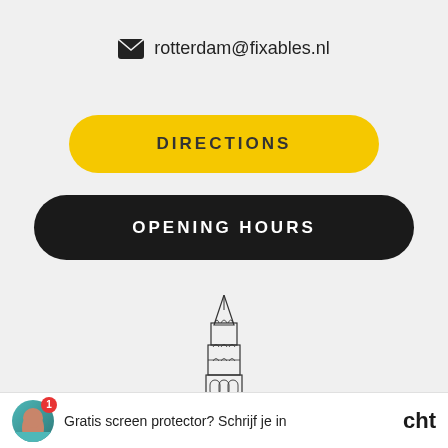rotterdam@fixables.nl
DIRECTIONS
OPENING HOURS
[Figure (illustration): Line drawing illustration of a tall church tower/Dom tower in Utrecht]
Gratis screen protector? Schrijf je in